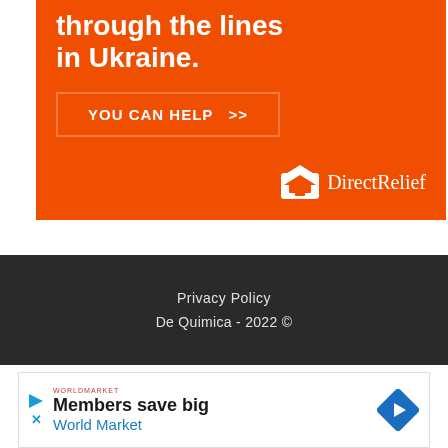[Figure (infographic): Orange Direct Relief banner ad with text 'through the lines in Ukraine.', a 'YOU CAN HELP >>' button with orange border, and the Direct Relief logo in white at bottom right.]
Privacy Policy
De Quimica - 2022 ©
[Figure (infographic): Advertisement banner: 'Members save big World Market' with a red World Market logo, a blue diamond-shaped arrow icon, and play/close icons on the left.]